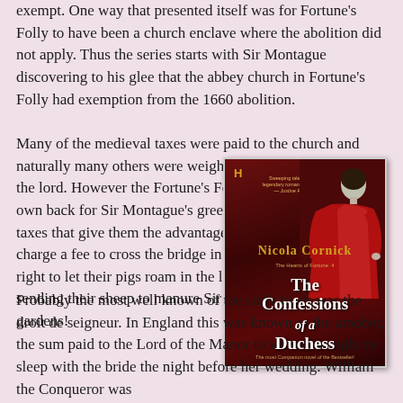exempt. One way that presented itself was for Fortune's Folly to have been a church enclave where the abolition did not apply. Thus the series starts with Sir Montague discovering to his glee that the abbey church in Fortune's Folly had exemption from the 1660 abolition.
Many of the medieval taxes were paid to the church and naturally many others were weighted heavily in favour of the lord. However the Fortune's Folly villagers, to get their own back for Sir Montague's greed, in turn revive those taxes that give them the advantage: Pontage, by which they charge a fee to cross the bridge in the village, pannage, the right to let their pigs roam in the lord's woods, and foldage, sending their sheep to manure Sir Montague's beautiful rose gardens!
[Figure (illustration): Book cover of 'The Confessions of a Duchess' by Nicola Cornick. A woman in a red dress on a dark red background. Author name in gold letters, title in white.]
Probably the most well known of the early taxes was the droit de seigneur. In England this was known as the amober, the sum paid to the Lord of the Manor to waive his right to sleep with the bride the night before her wedding. William the Conqueror was